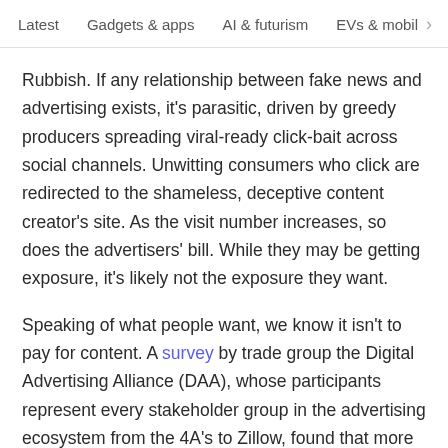Latest   Gadgets & apps   AI & futurism   EVs & mobil  >
Rubbish. If any relationship between fake news and advertising exists, it's parasitic, driven by greedy producers spreading viral-ready click-bait across social channels. Unwitting consumers who click are redirected to the shameless, deceptive content creator's site. As the visit number increases, so does the advertisers' bill. While they may be getting exposure, it's likely not the exposure they want.
Speaking of what people want, we know it isn't to pay for content. A survey by trade group the Digital Advertising Alliance (DAA), whose participants represent every stakeholder group in the advertising ecosystem from the 4A's to Zillow, found that more